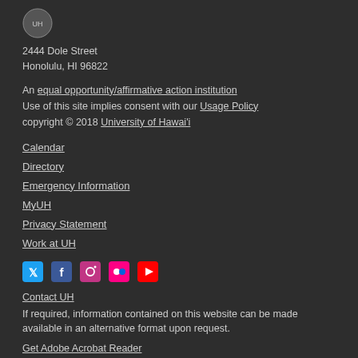[Figure (logo): University of Hawaii circular logo/seal at top]
2444 Dole Street
Honolulu, HI 96822
An equal opportunity/affirmative action institution
Use of this site implies consent with our Usage Policy
copyright © 2018 University of Hawai'i
Calendar
Directory
Emergency Information
MyUH
Privacy Statement
Work at UH
[Figure (illustration): Social media icons: Twitter, Facebook, Instagram, Flickr, YouTube]
Contact UH
If required, information contained on this website can be made available in an alternative format upon request.
Get Adobe Acrobat Reader